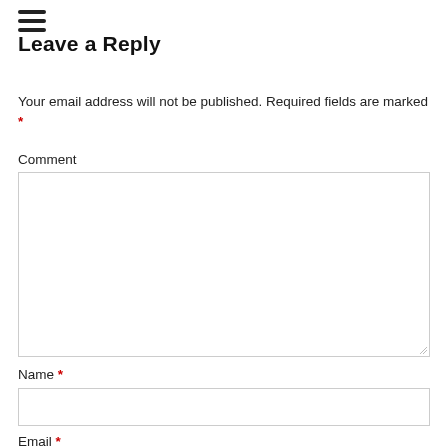[Figure (other): Hamburger menu icon — three horizontal black bars stacked vertically]
Leave a Reply
Your email address will not be published. Required fields are marked *
Comment
[Figure (other): Large empty comment textarea input field with resize handle]
Name *
[Figure (other): Single-line text input field for Name]
Email *